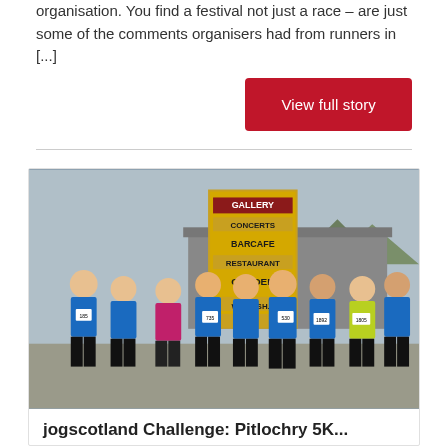organisation. You find a festival not just a race – are just some of the comments organisers had from runners in [...]
View full story
[Figure (photo): Group photo of runners wearing blue Falkirk Trail Runners vests and race numbers, posing outside a venue with signs reading Gallery, Concerts, Barcafe, Restaurant, Garden, Workshop. Mountains visible in background.]
jogscotland Challenge: Pitlochry 5K...